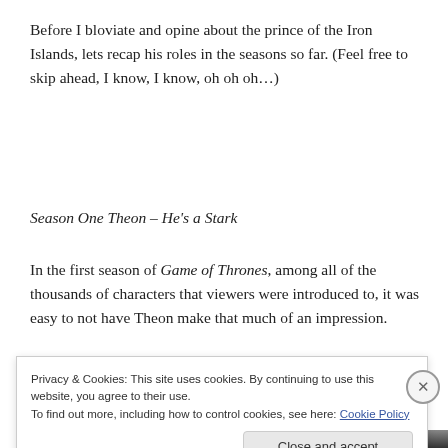Before I bloviate and opine about the prince of the Iron Islands, lets recap his roles in the seasons so far. (Feel free to skip ahead, I know, I know, oh oh oh…)
Season One Theon – He's a Stark
In the first season of Game of Thrones, among all of the thousands of characters that viewers were introduced to, it was easy to not have Theon make that much of an impression.
[Figure (photo): Dark scene image strip from Game of Thrones, partially visible at bottom of page]
Privacy & Cookies: This site uses cookies. By continuing to use this website, you agree to their use.
To find out more, including how to control cookies, see here: Cookie Policy
Close and accept